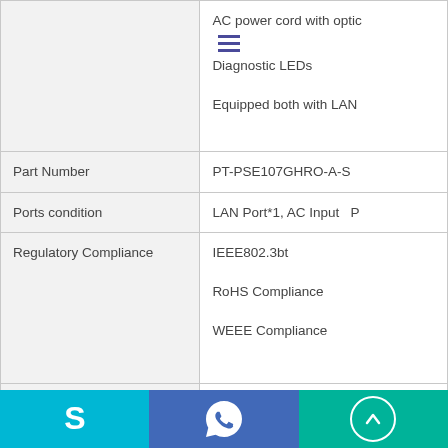| Feature | Value |
| --- | --- |
|  | AC power cord with optic...
Diagnostic LEDs
Equipped both with LAN... |
| Part Number | PT-PSE107GHRO-A-S... |
| Ports condition | LAN Port*1, AC Input  P... |
| Regulatory Compliance | IEEE802.3bt
RoHS Compliance
WEEE Compliance |
| Pass Through Data Rates | 10/100/1000 Mbps |
| Output | Pin Assignment and Pola...
4/5(+), 7/8(-) and 3/6(+),...
Output Power Voltage: 5...
User Port Power: 75W G... |
| Input | AC Input Voltage:90 to 2...
AC Input Current: 1.5A
Frequency: 47 to 63Hz (... |
[Figure (infographic): Footer bar with three sections: blue section with Skype icon, dark blue section with WhatsApp icon, teal section with up-arrow circle icon]